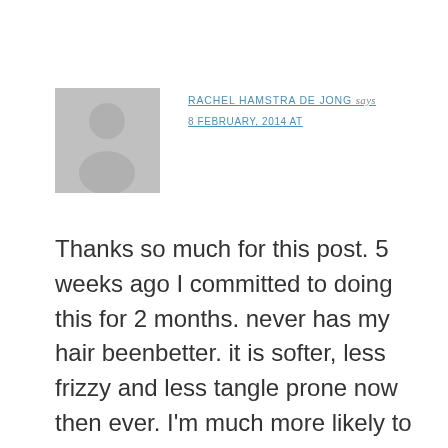[Figure (illustration): Generic grey avatar placeholder image showing a silhouette of a person (head and shoulders)]
RACHEL HAMSTRA DE JONG says
8 FEBRUARY, 2014 AT
Thanks so much for this post. 5 weeks ago I committed to doing this for 2 months. never has my hair beenbetter. it is softer, less frizzy and less tangle prone now then ever. I'm much more likely to wear it down! I only was about 1x/week so one batch lasted a whole